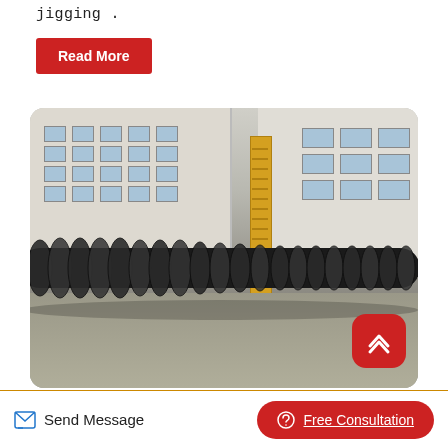jigging .
Read More
[Figure (photo): Large spiral screw conveyor equipment parked outside an industrial factory building with a yellow crane arm visible in the background. The screw conveyor is long and black with helical flights. A red back-to-top button overlays the bottom-right corner of the image.]
Send Message
Free Consultation